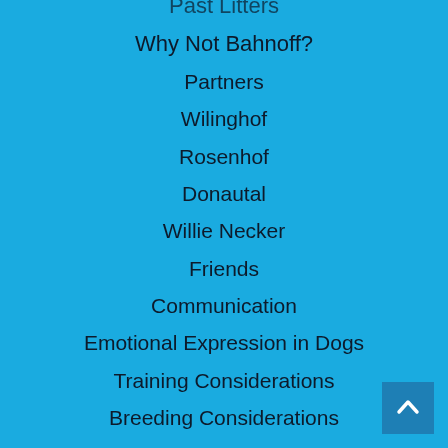Past Litters
Why Not Bahnoff?
Partners
Wilinghof
Rosenhof
Donautal
Willie Necker
Friends
Communication
Emotional Expression in Dogs
Training Considerations
Breeding Considerations